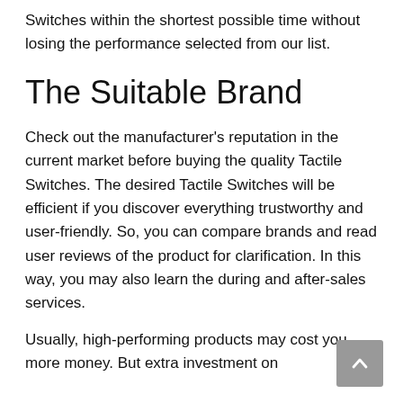Switches within the shortest possible time without losing the performance selected from our list.
The Suitable Brand
Check out the manufacturer’s reputation in the current market before buying the quality Tactile Switches. The desired Tactile Switches will be efficient if you discover everything trustworthy and user-friendly. So, you can compare brands and read user reviews of the product for clarification. In this way, you may also learn the during and after-sales services.
Usually, high-performing products may cost you more money. But extra investment on